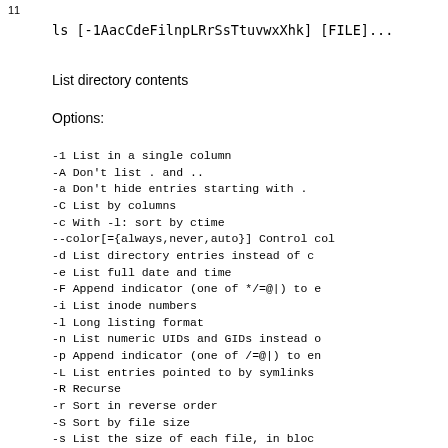11
ls [-1AacCdeFilnpLRrSsTtuvwxXhk] [FILE]...
List directory contents
Options:
-1        List in a single column
-A        Don't list . and ..
-a        Don't hide entries starting with .
-C        List by columns
-c        With -l: sort by ctime
--color[={always,never,auto}]   Control col
-d        List directory entries instead of c
-e        List full date and time
-F        Append indicator (one of */=@|) to e
-i        List inode numbers
-l        Long listing format
-n        List numeric UIDs and GIDs instead o
-p        Append indicator (one of /=@|) to en
-L        List entries pointed to by symlinks
-R        Recurse
-r        Sort in reverse order
-S        Sort by file size
-s        List the size of each file, in bloc
-T N      Assume tabstop every N columns
-t        With -l: sort by modification time
-u        With -l: sort by access time
-v        Sort by version